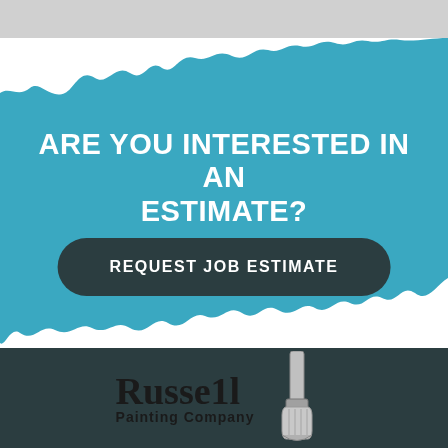[Figure (infographic): Teal paint brush stroke splash background with white painted edges at top and bottom, teal color #3aa8c1]
ARE YOU INTERESTED IN AN ESTIMATE?
REQUEST JOB ESTIMATE
[Figure (logo): Russell Painting Company logo with paint brush graphic on dark teal footer background]